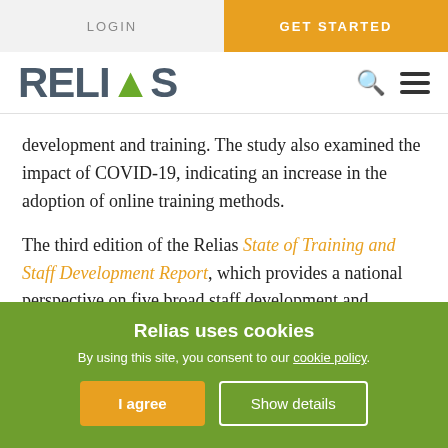LOGIN | GET STARTED
[Figure (logo): Relias logo with green arrow accent and navigation icons (search, hamburger menu)]
development and training. The study also examined the impact of COVID-19, indicating an increase in the adoption of online training methods.
The third edition of the Relias State of Training and Staff Development Report, which provides a national perspective on five broad staff development and training issues in healthcare and public safety
Relias uses cookies
By using this site, you consent to our cookie policy.
I agree | Show details